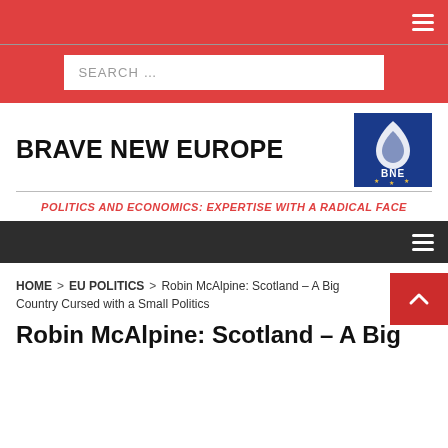SEARCH …
BRAVE NEW EUROPE
[Figure (logo): BNE - Brave New Europe logo on blue background with flame/droplet symbol and stars]
POLITICS AND ECONOMICS: EXPERTISE WITH A RADICAL FACE
Navigation menu bar
HOME > EU POLITICS > Robin McAlpine: Scotland – A Big Country Cursed with a Small Politics
Robin McAlpine: Scotland – A Big